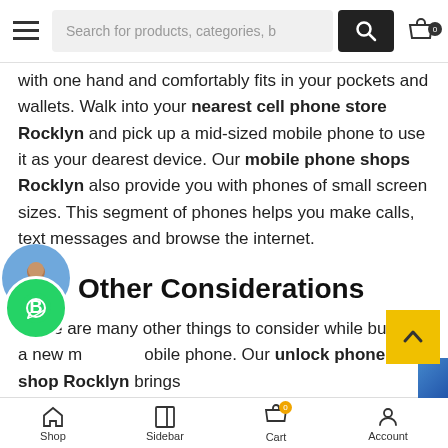Search for products, categories, b
with one hand and comfortably fits in your pockets and wallets. Walk into your nearest cell phone store Rocklyn and pick up a mid-sized mobile phone to use it as your dearest device. Our mobile phone shops Rocklyn also provide you with phones of small screen sizes. This segment of phones helps you make calls, text messages and browse the internet.
Other Considerations
There are many other things to consider while buying a new mobile phone. Our unlock phone shop Rocklyn brings phones with efficient processors. Efficient processors h your phone to perform without lag. Smartphones are
Shop  Sidebar  Cart  Account